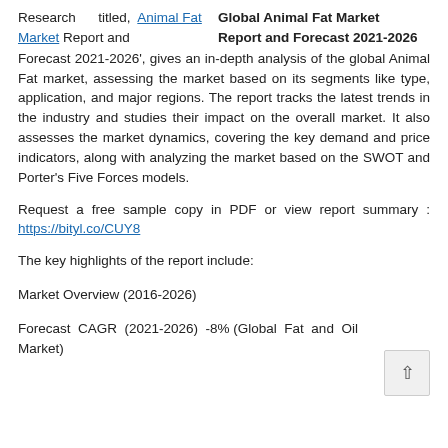Research titled, Global Animal Fat Market Report and Forecast 2021-2026 'Global Animal Fat Market Report and Forecast 2021-2026', gives an in-depth analysis of the global Animal Fat market, assessing the market based on its segments like type, application, and major regions. The report tracks the latest trends in the industry and studies their impact on the overall market. It also assesses the market dynamics, covering the key demand and price indicators, along with analyzing the market based on the SWOT and Porter's Five Forces models.
Request a free sample copy in PDF or view report summary : https://bityl.co/CUY8
The key highlights of the report include:
Market Overview (2016-2026)
Forecast CAGR (2021-2026) -8% (Global Fat and Oil Market)